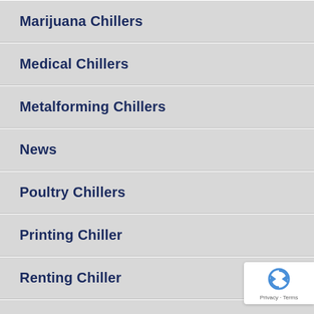Marijuana Chillers
Medical Chillers
Metalforming Chillers
News
Poultry Chillers
Printing Chiller
Renting Chiller
Uncategorised
Uncategorized
Water Cooled Chillers